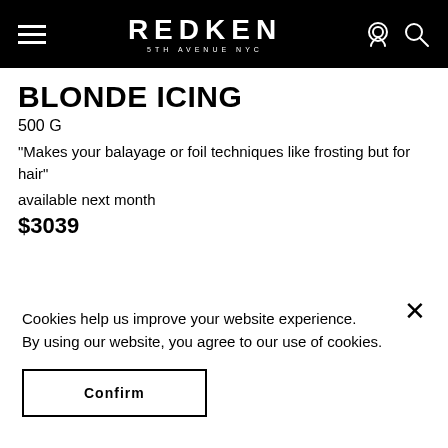REDKEN 5TH AVENUE NYC
BLONDE ICING
500 G
"Makes your balayage or foil techniques like frosting but for hair"
available next month
$3039
Cookies help us improve your website experience.
By using our website, you agree to our use of cookies.
Confirm